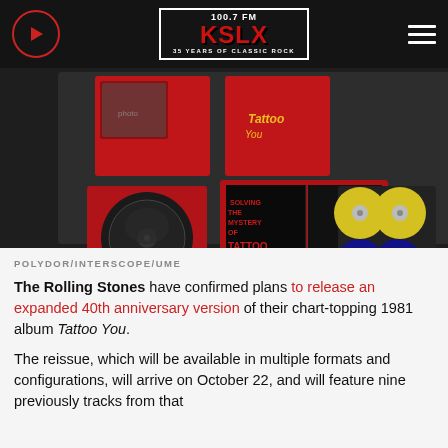100.7 FM KSLX — 35 YEARS OF CLASSIC ROCK
[Figure (photo): Rolling Stones Tattoo You 40th anniversary box set contents spread on red background showing vinyl records, booklets, and CDs]
POLYDOR/INTERSCOPE/UME
The Rolling Stones have confirmed plans to release an expanded 40th anniversary version of their chart-topping 1981 album Tattoo You.
The reissue, which will be available in multiple formats and configurations, will arrive on October 22, and will feature nine previously tracks from that